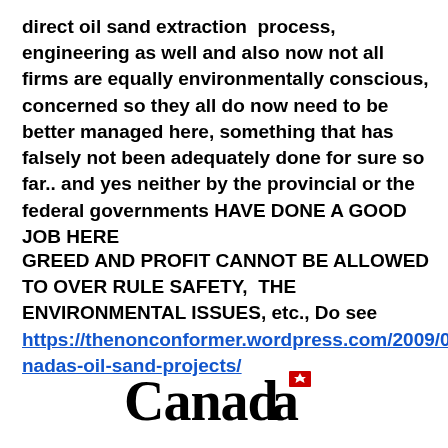direct oil sand extraction  process, engineering as well and also now not all firms are equally environmentally conscious, concerned so they all do now need to be better managed here, something that has falsely not been adequately done for sure so far.. and yes neither by the provincial or the federal governments HAVE DONE A GOOD JOB HERE
GREED AND PROFIT CANNOT BE ALLOWED TO OVER RULE SAFETY,  THE ENVIRONMENTAL ISSUES, etc., Do see https://thenonconformer.wordpress.com/2009/01/08/canadas-oil-sand-projects/
[Figure (logo): Canada wordmark logo with maple leaf flag symbol]